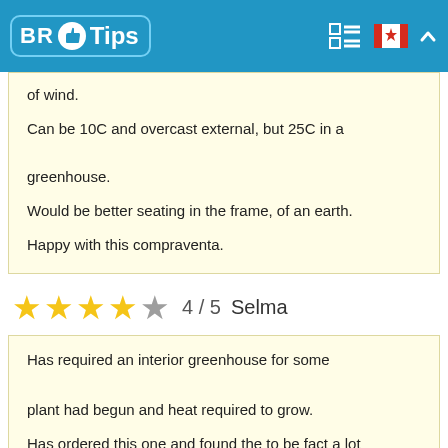BR Tips
of wind.

Can be 10C and overcast external, but 25C in a greenhouse.

Would be better seating in the frame, of an earth.

Happy with this compraventa.
4 / 5  Selma
Has required an interior greenhouse for some plant had begun and heat required to grow.
Has ordered this one and found the to be fact a lot well, and huger that has expected. I can take a lot of inner plant be in some good shelving